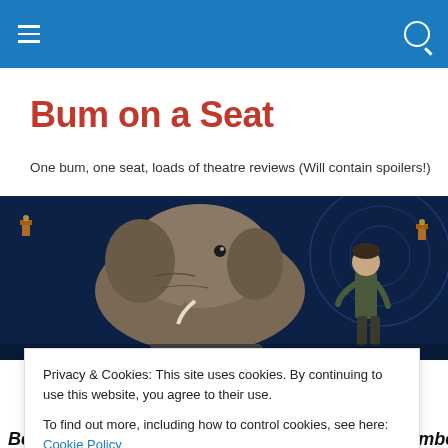Bum on a Seat – navigation header
Bum on a Seat
One bum, one seat, loads of theatre reviews (Will contain spoilers!)
[Figure (photo): Theatre scene showing a large elephant puppet/prop and an actor on a dark blue-lit stage]
TAGGED WITH ANTONY LAMPARD
Privacy & Cookies: This site uses cookies. By continuing to use this website, you agree to their use.
To find out more, including how to control cookies, see here: Cookie Policy
Close and accept
Belgrade Theatre, Coventry, Tuesday 24th September,